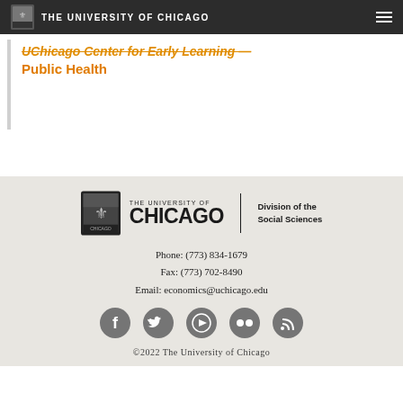THE UNIVERSITY OF CHICAGO
UChicago Center for Early Learning Public Health
[Figure (logo): University of Chicago Division of the Social Sciences logo with shield emblem]
Phone: (773) 834-1679
Fax: (773) 702-8490
Email: economics@uchicago.edu
[Figure (other): Social media icons: Facebook, Twitter, YouTube, Flickr, RSS]
©2022 The University of Chicago